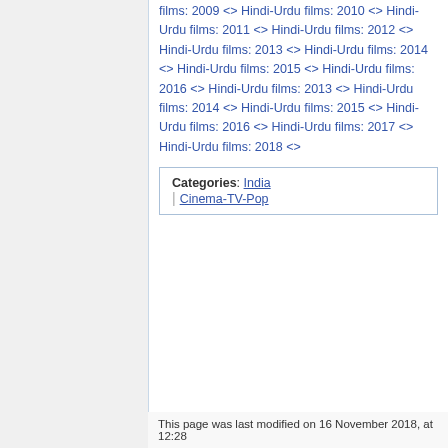films: 2009 <> Hindi-Urdu films: 2010 <> Hindi-Urdu films: 2011 <> Hindi-Urdu films: 2012 <> Hindi-Urdu films: 2013 <> Hindi-Urdu films: 2014 <> Hindi-Urdu films: 2015 <> Hindi-Urdu films: 2016 <> Hindi-Urdu films: 2013 <> Hindi-Urdu films: 2014 <> Hindi-Urdu films: 2015 <> Hindi-Urdu films: 2016 <> Hindi-Urdu films: 2017 <> Hindi-Urdu films: 2018 <>
| Categories |
| --- |
| India | Cinema-TV-Pop |
This page was last modified on 16 November 2018, at 12:28